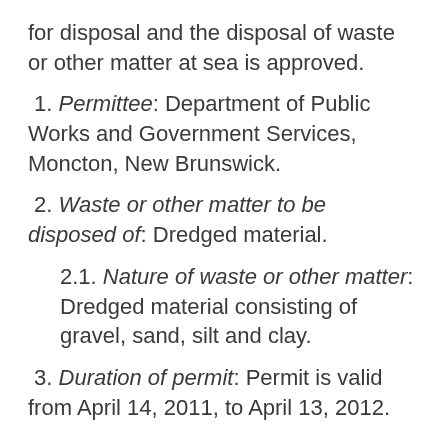for disposal and the disposal of waste or other matter at sea is approved.
1. Permittee: Department of Public Works and Government Services, Moncton, New Brunswick.
2. Waste or other matter to be disposed of: Dredged material.
2.1. Nature of waste or other matter: Dredged material consisting of gravel, sand, silt and clay.
3. Duration of permit: Permit is valid from April 14, 2011, to April 13, 2012.